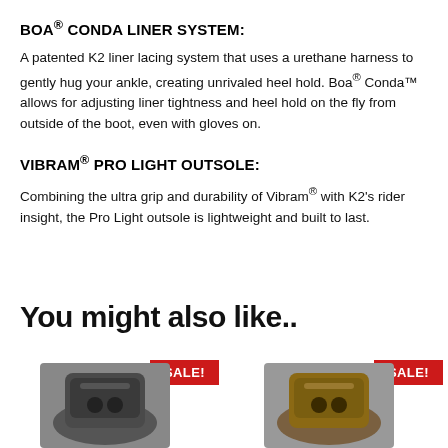BOA® CONDA LINER SYSTEM:
A patented K2 liner lacing system that uses a urethane harness to gently hug your ankle, creating unrivaled heel hold. Boa® Conda™ allows for adjusting liner tightness and heel hold on the fly from outside of the boot, even with gloves on.
VIBRAM® PRO LIGHT OUTSOLE:
Combining the ultra grip and durability of Vibram® with K2's rider insight, the Pro Light outsole is lightweight and built to last.
You might also like..
[Figure (photo): Two snowboard boots product images with SALE! badges, displayed side by side at the bottom of the page.]